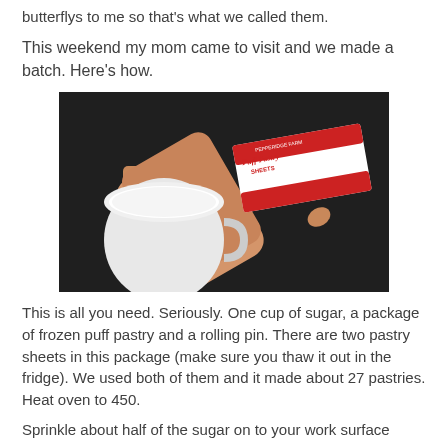butterflys to me so that's what we called them.
This weekend my mom came to visit and we made a batch. Here's how.
[Figure (photo): A rolling pin, a cup of sugar (white mug), and a box of Pepperidge Farm Puff Pastry Sheets on a dark granite countertop.]
This is all you need. Seriously. One cup of sugar, a package of frozen puff pastry and a rolling pin. There are two pastry sheets in this package (make sure you thaw it out in the fridge). We used both of them and it made about 27 pastries. Heat oven to 450.
Sprinkle about half of the sugar on to your work surface